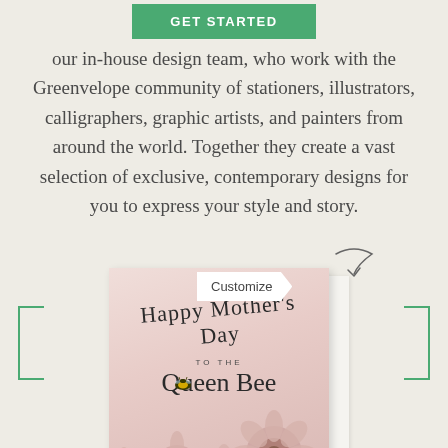[Figure (other): Green 'GET STARTED' button]
our in-house design team, who work with the Greenvelope community of stationers, illustrators, calligraphers, graphic artists, and painters from around the world. Together they create a vast selection of exclusive, contemporary designs for you to express your style and story.
[Figure (illustration): Scroll/swipe arrow icon]
[Figure (photo): Mother's Day card 'Happy Mother's Day to the Queen Bee' with floral design and bee illustration, with a 'Customize' tooltip overlay]
Queen Bee